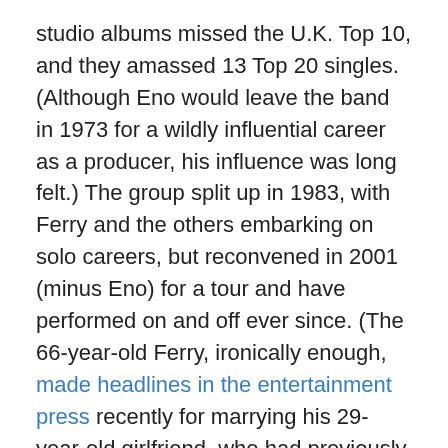studio albums missed the U.K. Top 10, and they amassed 13 Top 20 singles. (Although Eno would leave the band in 1973 for a wildly influential career as a producer, his influence was long felt.) The group split up in 1983, with Ferry and the others embarking on solo careers, but reconvened in 2001 (minus Eno) for a tour and have performed on and off ever since. (The 66-year-old Ferry, ironically enough, made headlines in the entertainment press recently for marrying his 29-year-old girlfriend, who had previously dated one of Ferry's sons.)
As initially announced, The Complete Recordings 1972-1982 will present all eight of the band's studio albums, from Roxy Music to Avalon, each digitally remastered and expanded with a host of non-LP B-sides and remixes, 12 of which are making their debut on CD. Initially, the